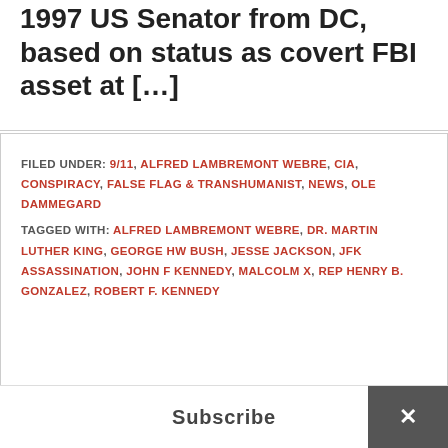1997 US Senator from DC, based on status as covert FBI asset at […]
FILED UNDER: 9/11, ALFRED LAMBREMONT WEBRE, CIA, CONSPIRACY, FALSE FLAG & TRANSHUMANIST, NEWS, OLE DAMMEGARD
TAGGED WITH: ALFRED LAMBREMONT WEBRE, DR. MARTIN LUTHER KING, GEORGE HW BUSH, JESSE JACKSON, JFK ASSASSINATION, JOHN F KENNEDY, MALCOLM X, REP HENRY B. GONZALEZ, ROBERT F. KENNEDY
SUBSCRIBE NOW TO FREE NEWS!
Email *
Subscribe
✕